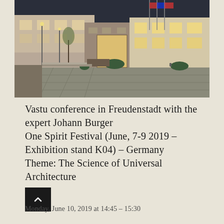[Figure (photo): Exterior photograph of a town square or plaza at dusk/night, showing a large public building with illuminated windows, street lamps, paved square, and some shrubbery in the foreground. The scene appears to be in Germany.]
Vastu conference in Freudenstadt with the expert Johann Burger
One Spirit Festival (June, 7-9 2019 – Exhibition stand K04) – Germany
Theme: The Science of Universal Architecture
[Figure (other): Dark square button with upward-pointing chevron/arrow icon]
Monday, June 10, 2019 at 14:45 – 15:30